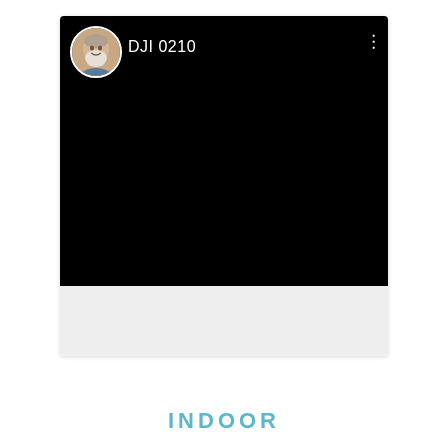[Figure (screenshot): A mobile app screenshot showing a video player interface with a black video area. At the top left is a circular profile photo of a bearded man, next to the username 'DJI 0210' in white text. At the top right are three vertical dots (menu icon) in white. The video area is entirely black. Below the video is a light gray panel area.]
INDOOR